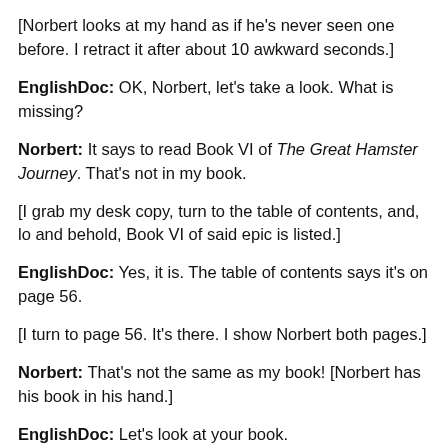[Norbert looks at my hand as if he's never seen one before.  I retract it after about 10 awkward seconds.]
EnglishDoc: OK, Norbert, let's take a look. What is missing?
Norbert: It says to read Book VI of The Great Hamster Journey. That's not in my book.
[I grab my desk copy, turn to the table of contents, and, lo and behold, Book VI of said epic is listed.]
EnglishDoc: Yes, it is. The table of contents says it's on page 56.
[I turn to page 56. It's there. I show Norbert both pages.]
Norbert: That's not the same as my book! [Norbert has his book in his hand.]
EnglishDoc:  Let's look at your book. [I flip the cover of my book to show him it's the same book. I then turn the pages to show him they are identical to my…